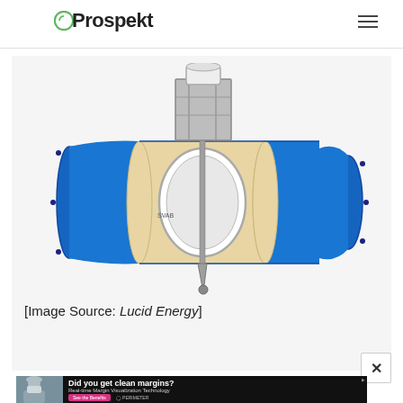Prospekt
[Figure (engineering-diagram): Cross-section cutaway diagram of a pipe with an internal turbine/butterfly valve mechanism. The pipe is blue on the exterior with a beige/cream interior lining. A mechanical assembly sits on top of the pipe with a white cylindrical component and metal frame. Inside the pipe is a white oval/disc-shaped rotor or valve disc mounted on a vertical shaft, with a pointed bottom piece. Flanges are visible on both ends of the pipe.]
[Image Source: Lucid Energy]
[Figure (photo): Advertisement banner: A surgeon or doctor wearing scrubs, surgical cap, and mask on the left. Text reads 'Did you get clean margins? Real-time Margin Visualization Technology' with a pink 'See the Benefits' button and Perimeter branding on the right.]